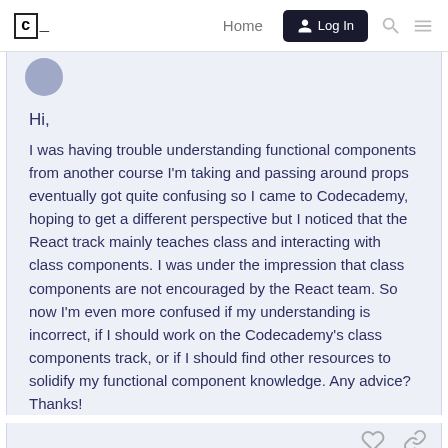Codecademy | Home | Log In
Hi,
I was having trouble understanding functional components from another course I'm taking and passing around props eventually got quite confusing so I came to Codecademy, hoping to get a different perspective but I noticed that the React track mainly teaches class and interacting with class components. I was under the impression that class components are not encouraged by the React team. So now I'm even more confused if my understanding is incorrect, if I should work on the Codecademy's class components track, or if I should find other resources to solidify my functional component knowledge. Any advice? Thanks!
created  Oct '21   last reply  Jun 14   10 replies   1/11